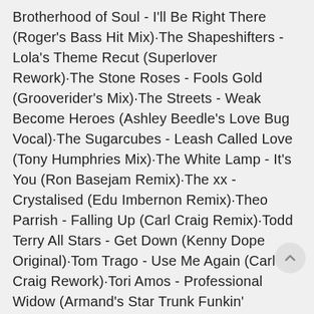Brotherhood of Soul - I'll Be Right There (Roger's Bass Hit Mix)·The Shapeshifters - Lola's Theme Recut (Superlover Rework)·The Stone Roses - Fools Gold (Grooverider's Mix)·The Streets - Weak Become Heroes (Ashley Beedle's Love Bug Vocal)·The Sugarcubes - Leash Called Love (Tony Humphries Mix)·The White Lamp - It's You (Ron Basejam Remix)·The xx - Crystalised (Edu Imbernon Remix)·Theo Parrish - Falling Up (Carl Craig Remix)·Todd Terry All Stars - Get Down (Kenny Dope Original)·Tom Trago - Use Me Again (Carl Craig Rework)·Tori Amos - Professional Widow (Armand's Star Trunk Funkin' Mix)·Tortured Soul - Always in Heaven (Spinna Mix)·Two Door Cinema Club - Bad Decisions (Purple Disco Machine Remix)·U2 - Even Better Than the Real Thing (The Perfecto Mix)·Uffie - A.D.D. S.U.V. (feat. Pharell Williams) [Armand Van Helden Club Remix] [Mixed]·Ultra Naté - Free [Radio Edit]·Vanessa Williams - Work to Do (Choice Club)·X-Press 2 - Kill 100 (feat. Rob Harvey) [Carl Craig...